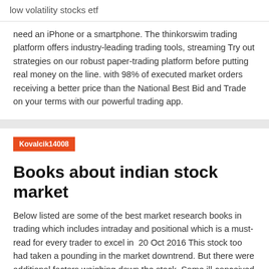low volatility stocks etf
need an iPhone or a smartphone. The thinkorswim trading platform offers industry-leading trading tools, streaming Try out strategies on our robust paper-trading platform before putting real money on the line. with 98% of executed market orders receiving a better price than the National Best Bid and Trade on your terms with our powerful trading app.
Kovalcik14008
Books about indian stock market
Below listed are some of the best market research books in trading which includes intraday and positional which is a must-read for every trader to excel in  20 Oct 2016 This stock too had taken a pounding in the market downtrend. But there were additional factors weighing down the stock. Some ill-conceived